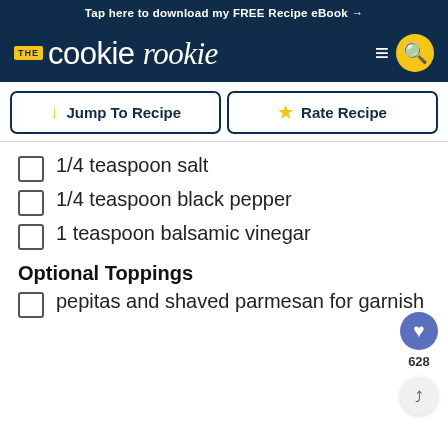Tap here to download my FREE Recipe eBook →
[Figure (logo): The Cookie Rookie logo with navigation icons (hamburger menu and search button)]
[Figure (infographic): Jump To Recipe and Rate Recipe navigation buttons]
1/4 teaspoon salt
1/4 teaspoon black pepper
1 teaspoon balsamic vinegar
Optional Toppings
pepitas and shaved parmesan for garnish